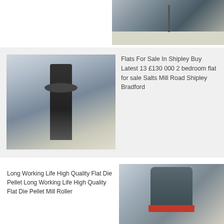[Figure (photo): Industrial facility interior with large machinery, crane or hoist visible, yellow safety striping on floor]
[Figure (photo): Industrial machine — tall vertical mill or reactor with black cylindrical structure on yellow platform inside a warehouse]
Flats For Sale In Shipley Buy Latest 13 £130 000 2 bedroom flat for sale Salts Mill Road Shipley Bradford
Long Working Life High Quality Flat Die Pellet Long Working Life High Quality Flat Die Pellet Mill Roller
[Figure (photo): Large grey pellet mill machine with red accent, standing in an industrial hall]